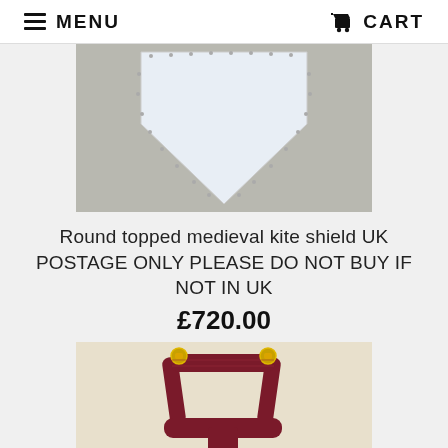MENU   CART
[Figure (photo): White triangular kite shield with riveted edges, pointing downward, against a gray background]
Round topped medieval kite shield UK POSTAGE ONLY PLEASE DO NOT BUY IF NOT IN UK
£720.00
[Figure (photo): Dark red/maroon leather stirrup with gold/brass fittings, on a linen background]